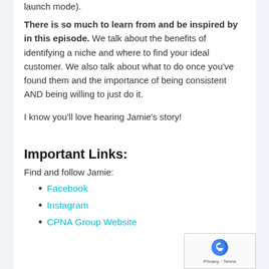launch mode).
There is so much to learn from and be inspired by in this episode. We talk about the benefits of identifying a niche and where to find your ideal customer. We also talk about what to do once you've found them and the importance of being consistent AND being willing to just do it.
I know you'll love hearing Jamie's story!
Important Links:
Find and follow Jamie:
Facebook
Instagram
CPNA Group Website